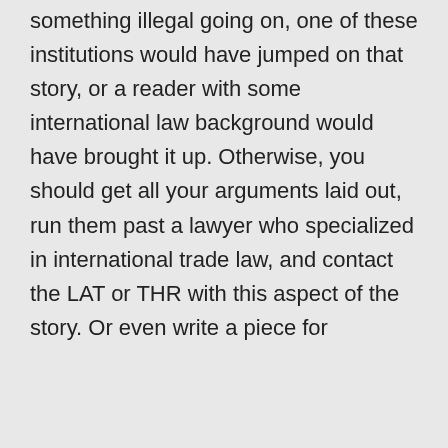something illegal going on, one of these institutions would have jumped on that story, or a reader with some international law background would have brought it up. Otherwise, you should get all your arguments laid out, run them past a lawyer who specialized in international trade law, and contact the LAT or THR with this aspect of the story. Or even write a piece for
Privacy & Cookies: This site uses cookies. By continuing to use this website, you agree to their use.
To find out more, including how to control cookies, see here: Cookie Policy